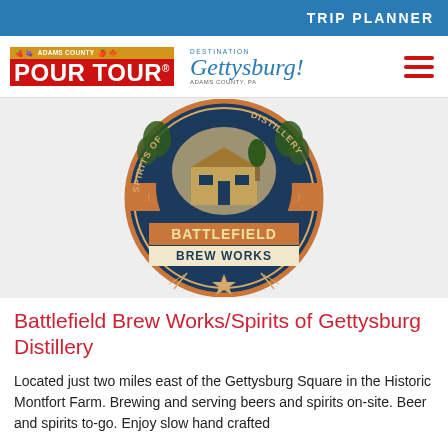TRIP PLANNER
[Figure (logo): Adams County Pour Tour logo and Destination Gettysburg logo with hamburger menu]
[Figure (logo): Battlefield Brew Works / Spirits of Gettysburg Distillery circular badge logo with barn illustration, hop leaves, wheat, star, and text BATTLEFIELD BREW WORKS]
Battlefield Brew Works/Spirits of Gettysburg Distillery
Located just two miles east of the Gettysburg Square in the Historic Montfort Farm. Brewing and serving beers and spirits on-site. Beer and spirits to-go. Enjoy slow hand crafted